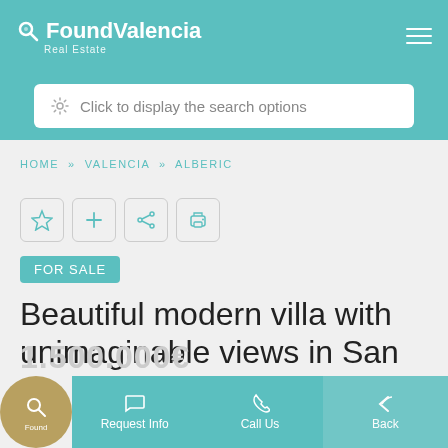FoundValencia Real Estate
Click to display the search options
HOME » VALENCIA » ALBERIC
FOR SALE
Beautiful modern villa with unimaginable views in San
Request Info | Call Us | Back